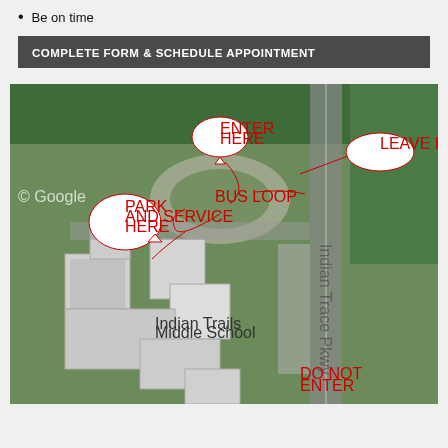Be on time
COMPLETE FORM & SCHEDULE APPOINTMENT
[Figure (map): Aerial satellite map of Indian Trails Middle School showing entry/exit points and parking instructions. Red callout bubbles label: ENTER HERE (top center), LEAVE HERE (top right), PARK AND SERVICE HERE (left side), BUS LOOP (center), DO NOT ENTER (bottom right). Red arrows show traffic flow directions.]